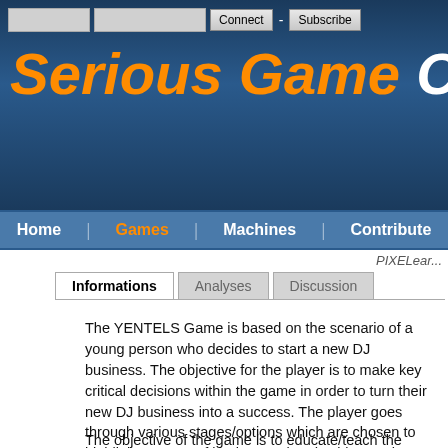[Figure (screenshot): Website header with dark blue gradient background showing 'Serious Game Classif...' title in orange and white italic bold text, with navigation bar below containing Home, Games, Machines, Contribute links]
Serious Game Classif[ication]
Informations | Analyses | Discussion
PIXELear...
The YENTELS Game is based on the scenario of a young person who decides to start a new DJ business. The objective for the player is to make key critical decisions within the game in order to turn their new DJ business into a success. The player goes through various stages/options which are chosen to highlight a range of business related subjects. The game is lasts approximately an hour, but can be paused at any point and returned to. Games can also be replayed depending on what decisions you make within the game.
The objective of the game is to educate/teach the player about the various issues associated with being an entrepreneur in a context which is true to life when starting a new business from scratch. The